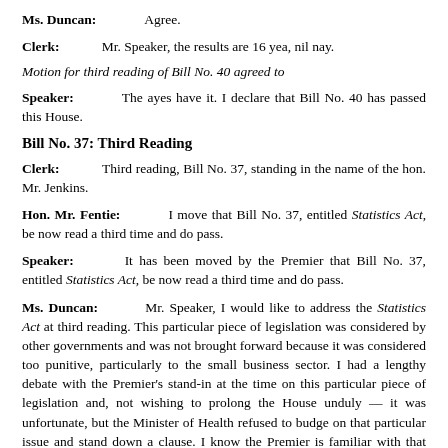Ms. Duncan: Agree.
Clerk: Mr. Speaker, the results are 16 yea, nil nay.
Motion for third reading of Bill No. 40 agreed to
Speaker: The ayes have it. I declare that Bill No. 40 has passed this House.
Bill No. 37: Third Reading
Clerk: Third reading, Bill No. 37, standing in the name of the hon. Mr. Jenkins.
Hon. Mr. Fentie: I move that Bill No. 37, entitled Statistics Act, be now read a third time and do pass.
Speaker: It has been moved by the Premier that Bill No. 37, entitled Statistics Act, be now read a third time and do pass.
Ms. Duncan: Mr. Speaker, I would like to address the Statistics Act at third reading. This particular piece of legislation was considered by other governments and was not brought forward because it was considered too punitive, particularly to the small business sector. I had a lengthy debate with the Premier's stand-in at the time on this particular piece of legislation and, not wishing to prolong the House unduly — it was unfortunate, but the Minister of Health refused to budge on that particular issue and stand down a clause. I know the Premier is familiar with that "stand down" phrase, which allows an opportunity for some consultation, particularly with the chambers of commerce, on this particular piece of legislation.
Since that debate, I have had the opportunity to discuss this piece of legislation